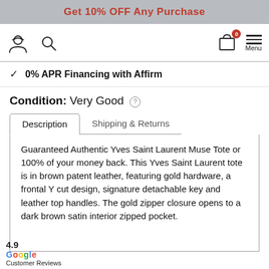Get 10% OFF Any Purchase
[Figure (screenshot): Navigation bar with user icon, search icon, cart icon with badge showing 0, and hamburger menu labeled Menu]
✓  0% APR Financing with Affirm
Condition: Very Good ⓘ
Description | Shipping & Returns (tabs)
Guaranteed Authentic Yves Saint Laurent Muse Tote or 100% of your money back. This Yves Saint Laurent tote is in brown patent leather, featuring gold hardware, a frontal Y cut design, signature detachable key and leather top handles. The gold zipper closure opens to a dark brown satin interior zipped pocket.
4.9 Google Customer Reviews